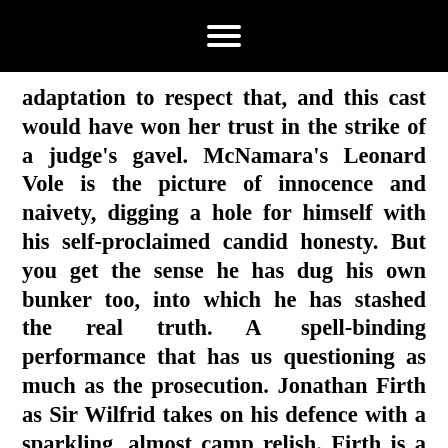≡
adaptation to respect that, and this cast would have won her trust in the strike of a judge's gavel. McNamara's Leonard Vole is the picture of innocence and naivety, digging a hole for himself with his self-proclaimed candid honesty. But you get the sense he has dug his own bunker too, into which he has stashed the real truth. A spell-binding performance that has us questioning as much as the prosecution. Jonathan Firth as Sir Wilfrid takes on his defence with a sparkling, almost camp relish. Firth is a delight to watch, commanding the stage. Most of the questions that we observe in the